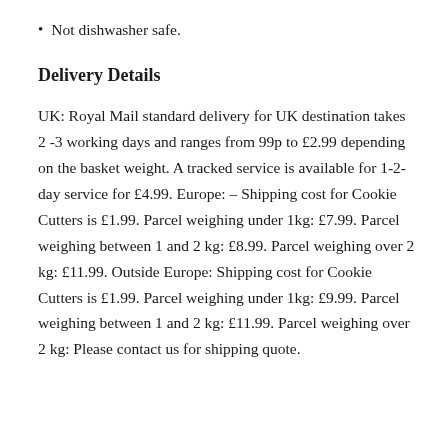Not dishwasher safe.
Delivery Details
UK: Royal Mail standard delivery for UK destination takes 2 -3 working days and ranges from 99p to £2.99 depending on the basket weight. A tracked service is available for 1-2-day service for £4.99. Europe: – Shipping cost for Cookie Cutters is £1.99. Parcel weighing under 1kg: £7.99. Parcel weighing between 1 and 2 kg: £8.99. Parcel weighing over 2 kg: £11.99. Outside Europe: Shipping cost for Cookie Cutters is £1.99. Parcel weighing under 1kg: £9.99. Parcel weighing between 1 and 2 kg: £11.99. Parcel weighing over 2 kg: Please contact us for shipping quote.